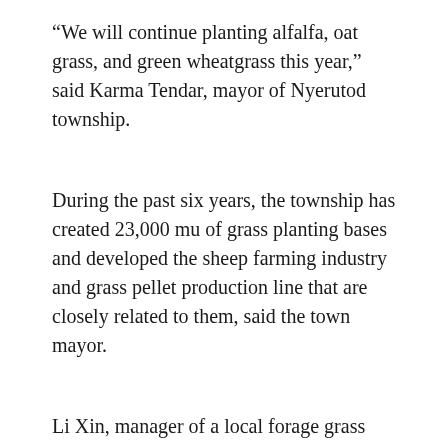“We will continue planting alfalfa, oat grass, and green wheatgrass this year,” said Karma Tendar, mayor of Nyerutod township.
During the past six years, the township has created 23,000 mu of grass planting bases and developed the sheep farming industry and grass pellet production line that are closely related to them, said the town mayor.
Li Xin, manager of a local forage grass planting cooperative, told People’s Daily that the cooperative plans to increase the